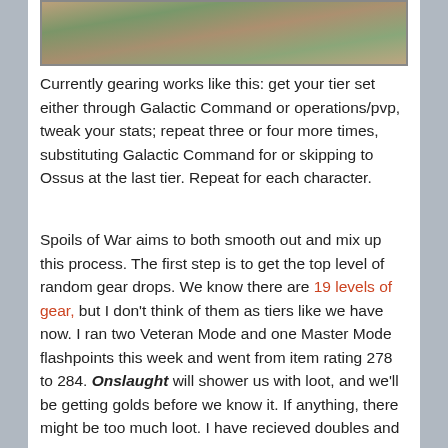[Figure (photo): Partial screenshot of a game environment showing rocky terrain with structures]
Currently gearing works like this: get your tier set either through Galactic Command or operations/pvp, tweak your stats; repeat three or four more times, substituting Galactic Command for or skipping to Ossus at the last tier. Repeat for each character.
Spoils of War aims to both smooth out and mix up this process. The first step is to get the top level of random gear drops. We know there are 19 levels of gear, but I don't think of them as tiers like we have now. I ran two Veteran Mode and one Master Mode flashpoints this week and went from item rating 278 to 284. Onslaught will shower us with loot, and we'll be getting golds before we know it. If anything, there might be too much loot. I have recieved doubles and even